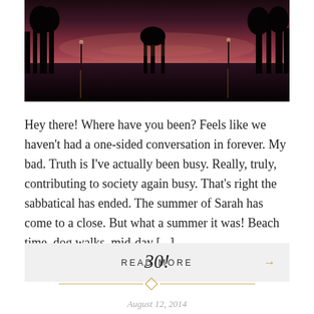[Figure (photo): Sunset or dusk landscape photo showing silhouetted trees reflected in water, with purple and orange sky tones]
Hey there! Where have you been? Feels like we haven't had a one-sided conversation in forever. My bad. Truth is I've actually been busy. Really, truly, contributing to society again busy. That's right the sabbatical has ended. The summer of Sarah has come to a close. But what a summer it was! Beach time, dog walks, mid-day [...]
READ MORE →
30!
August 12, 2014